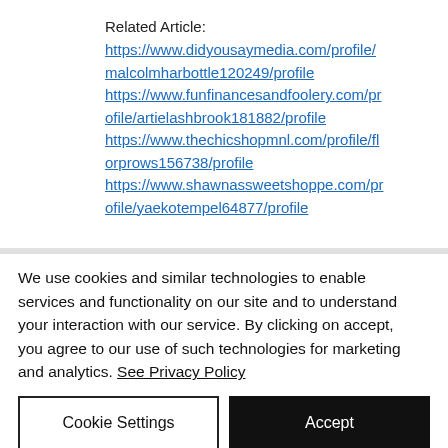Related Article:
https://www.didyousaymedia.com/profile/malcolmharbottle120249/profile
https://www.funfinancesandfoolery.com/profile/artielashbrook181882/profile
https://www.thechicshopmnl.com/profile/florprows156738/profile
https://www.shawnassweetshoppe.com/profile/yaekotempel64877/profile
We use cookies and similar technologies to enable services and functionality on our site and to understand your interaction with our service. By clicking on accept, you agree to our use of such technologies for marketing and analytics. See Privacy Policy
Cookie Settings
Accept